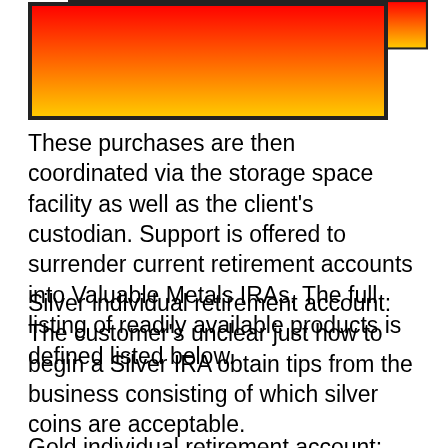[Figure (illustration): A rectangle with a gradient from red at the top to orange/yellow at the bottom, with a dark border.]
These purchases are then coordinated via the storage space facility as well as the client's custodian. Support is offered to surrender current retirement accounts into Valuable Metals IRAs. The full listing of readily available products is defined listed below.
Silver individual retirement account:
The customer's unclear just how to begin a Silver IRA obtain tips from the business consisting of which silver coins are acceptable.
Gold individual retirement account:
Information is offered on beginning a Gold